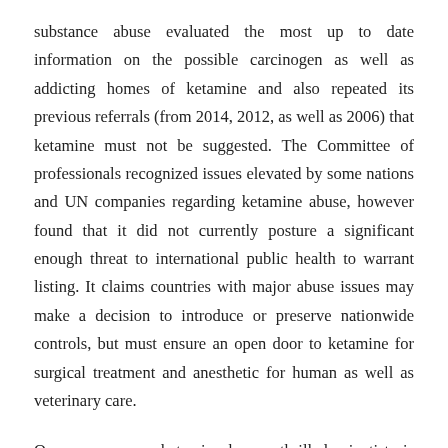substance abuse evaluated the most up to date information on the possible carcinogen as well as addicting homes of ketamine and also repeated its previous referrals (from 2014, 2012, as well as 2006) that ketamine must not be suggested. The Committee of professionals recognized issues elevated by some nations and UN companies regarding ketamine abuse, however found that it did not currently posture a significant enough threat to international public health to warrant listing. It claims countries with major abuse issues may make a decision to introduce or preserve nationwide controls, but must ensure an open door to ketamine for surgical treatment and anesthetic for human as well as veterinary care.
One more reason ketamine has so thrilled scientists is that it does not function like existing antidepressants. As opposed to acting on among the “monoamine”